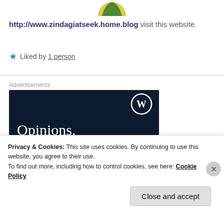[Figure (logo): Partial circular avatar/logo icon in yellow and green at top center]
http://www.zindagiatseek.home.blog visit this website.
★ Liked by 1 person
Advertisements
[Figure (screenshot): WordPress advertisement banner with dark navy background, WordPress logo (W in circle) at top right, and text 'Opinions.' in white serif font]
Privacy & Cookies: This site uses cookies. By continuing to use this website, you agree to their use.
To find out more, including how to control cookies, see here: Cookie Policy
Close and accept